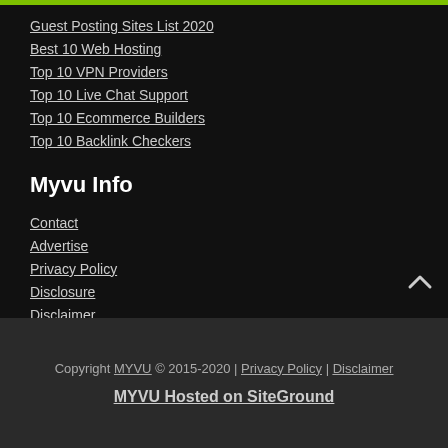Guest Posting Sites List 2020
Best 10 Web Hosting
Top 10 VPN Providers
Top 10 Live Chat Support
Top 10 Ecommerce Builders
Top 10 Backlink Checkers
Myvu Info
Contact
Advertise
Privacy Policy
Disclosure
Disclaimer
Myvu
Copyright MYVU © 2015-2020 | Privacy Policy | Disclaimer
MYVU Hosted on SiteGround